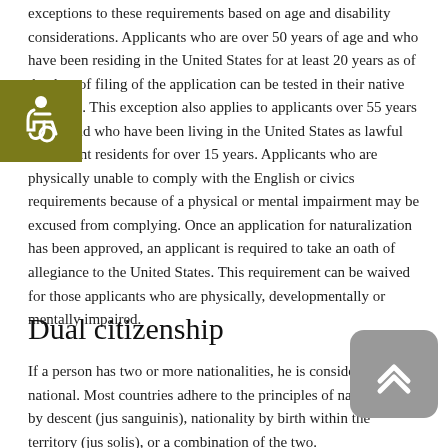exceptions to these requirements based on age and disability considerations. Applicants who are over 50 years of age and who have been residing in the United States for at least 20 years as of the date of filing of the application can be tested in their native language. This exception also applies to applicants over 55 years of age and who have been living in the United States as lawful permanent residents for over 15 years. Applicants who are physically unable to comply with the English or civics requirements because of a physical or mental impairment may be excused from complying. Once an application for naturalization has been approved, an applicant is required to take an oath of allegiance to the United States. This requirement can be waived for those applicants who are physically, developmentally or mentally impaired.
Dual citizenship
If a person has two or more nationalities, he is considered a dual national. Most countries adhere to the principles of nationality by descent (jus sanguinis), nationality by birth within the territory (jus solis), or a combination of the two.